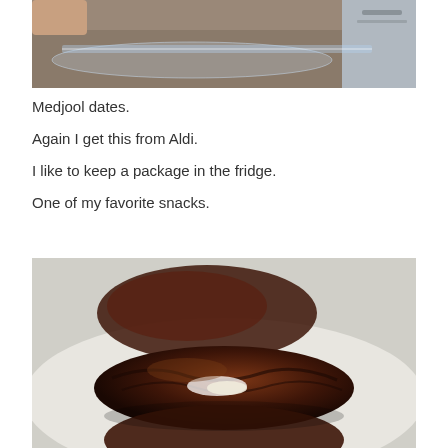[Figure (photo): Top portion of a photo showing a glass baking dish on a countertop, with a hand visible and a metallic appliance in the background]
Medjool dates.
Again I get this from Aldi.
I like to keep a package in the fridge.
One of my favorite snacks.
[Figure (photo): Close-up photo of Medjool dates on a white surface, showing their dark brown wrinkled skin and sticky texture, with one date split open slightly]